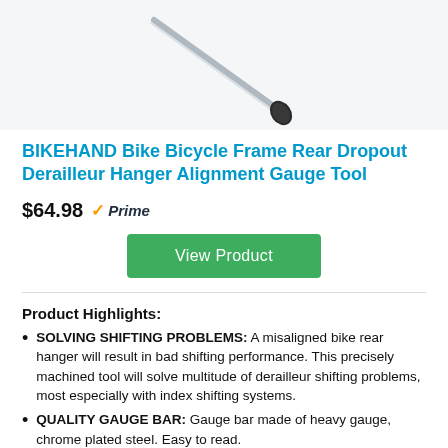[Figure (photo): Partial image of a derailleur hanger alignment gauge tool — a long metal rod with a black handle tip, shown diagonally against a light gray background.]
BIKEHAND Bike Bicycle Frame Rear Dropout Derailleur Hanger Alignment Gauge Tool
$64.98 Prime
View Product
Product Highlights:
SOLVING SHIFTING PROBLEMS: A misaligned bike rear hanger will result in bad shifting performance. This precisely machined tool will solve multitude of derailleur shifting problems, most especially with index shifting systems.
QUALITY GAUGE BAR: Gauge bar made of heavy gauge, chrome plated steel. Easy to read.
FIT ALL WHEELS: A longer, narrower alignment fit a wider variety of bikes. Compatible with 20″ to 29″+ , 700c wheel sizes.